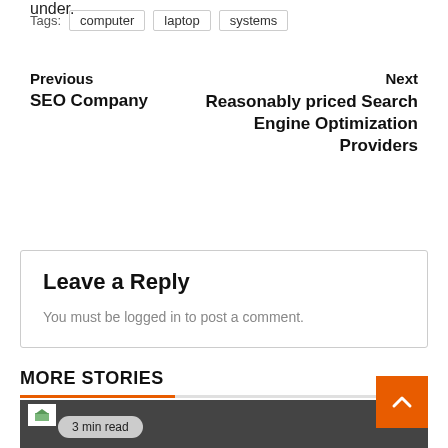under.
Tags: computer laptop systems
Previous
SEO Company
Next
Reasonably priced Search Engine Optimization Providers
Leave a Reply
You must be logged in to post a comment.
MORE STORIES
3 min read